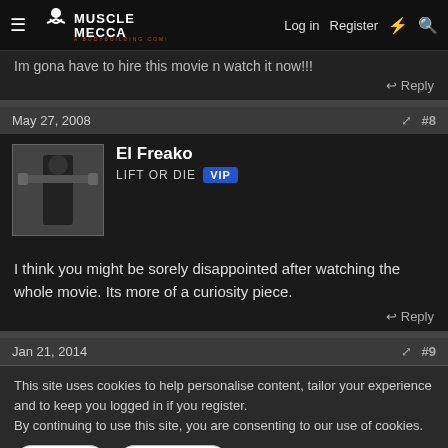Muscle Mecca · Log in · Register
Im gona have to hire this movie n watch it now!!!
↩ Reply
May 27, 2008  #8
El Freako
LIFT OR DIE  VIP
I think you might be sorely disappointed after watching the whole movie. Its more of a curiosity piece.
↩ Reply
Jan 21, 2014  #9
This site uses cookies to help personalise content, tailor your experience and to keep you logged in if you register.
By continuing to use this site, you are consenting to our use of cookies.
✓ Accept  Learn more...